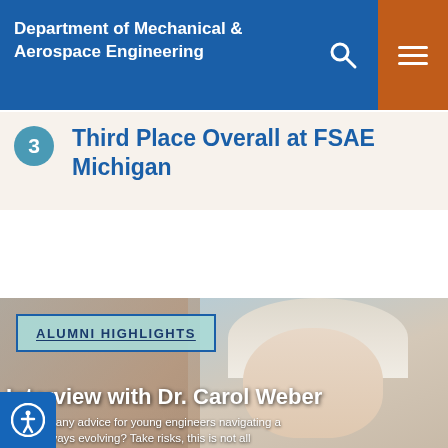Department of Mechanical & Aerospace Engineering
3 — Third Place Overall at FSAE Michigan
[Figure (photo): Photo of Dr. Carol Weber, a woman with white/blonde hair, with alumni highlights tag overlay]
ALUMNI HIGHLIGHTS
Interview with Dr. Carol Weber
you have any advice for young engineers navigating a that is always evolving? Take risks, this is not all